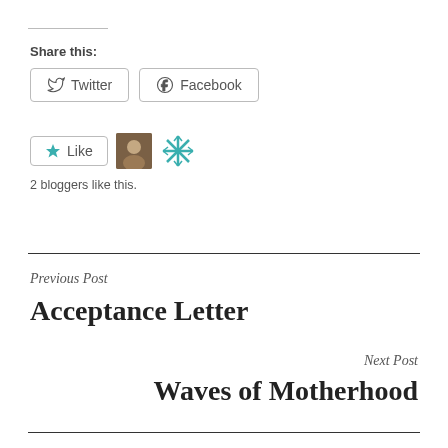Share this:
[Figure (other): Twitter share button with bird icon]
[Figure (other): Facebook share button with f icon]
[Figure (other): Like button with star icon, two blogger avatars]
2 bloggers like this.
Previous Post
Acceptance Letter
Next Post
Waves of Motherhood